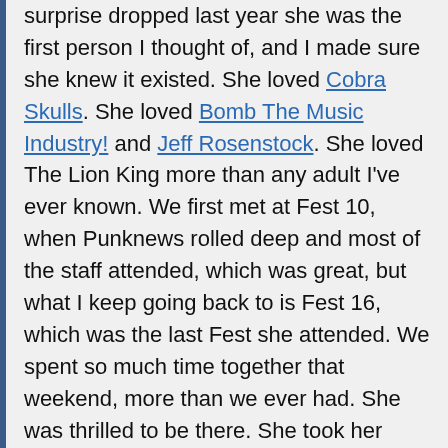surprise dropped last year she was the first person I thought of, and I made sure she knew it existed. She loved Cobra Skulls. She loved Bomb The Music Industry! and Jeff Rosenstock. She loved The Lion King more than any adult I've ever known. We first met at Fest 10, when Punknews rolled deep and most of the staff attended, which was great, but what I keep going back to is Fest 16, which was the last Fest she attended. We spent so much time together that weekend, more than we ever had. She was thrilled to be there. She took her fidget spinner everywhere. We drank and laughed with my family. We screamed along to Against Me! I can't stop thinking about that weekend and how much fun it was.
She revered Laura Jane Grace and Against Me! and got to go on tour with Typesetter, who were opening for AM!, last summer. That was the last time I saw her. Megan and I went to Ortlieb's where Typesetter were playing on